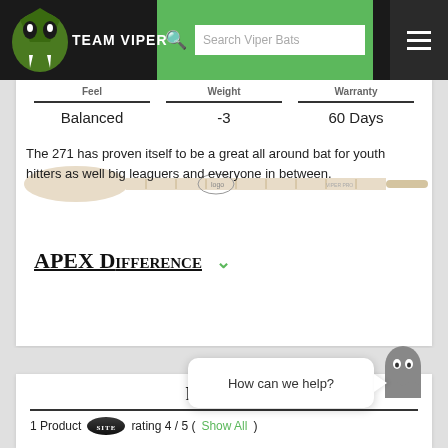TEAM VIPER | Search Viper Bats
| Feel | Weight | Warranty |
| --- | --- | --- |
| Balanced | -3 | 60 Days |
The 271 has proven itself to be a great all around bat for youth hitters as well big leaguers and everyone in between.
APEX Difference
Re[views]
1 Product  rating 4 / 5 (Show All)
How can we help?
SITE THEME